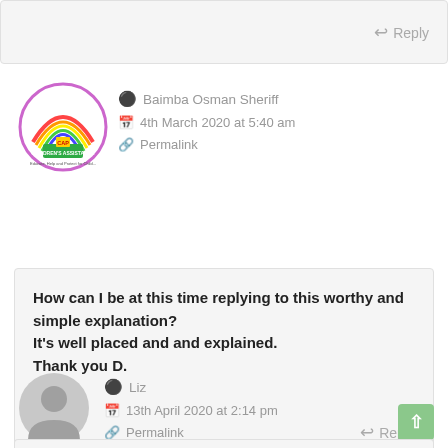Reply
[Figure (logo): Circular logo with rainbow arc and children's assistance programme branding]
Baimba Osman Sheriff
4th March 2020 at 5:40 am
Permalink
How can I be at this time replying to this worthy and simple explanation?
It's well placed and and explained.
Thank you D.
Reply
[Figure (illustration): Generic grey user avatar icon (silhouette of head and shoulders)]
Liz
13th April 2020 at 2:14 pm
Permalink